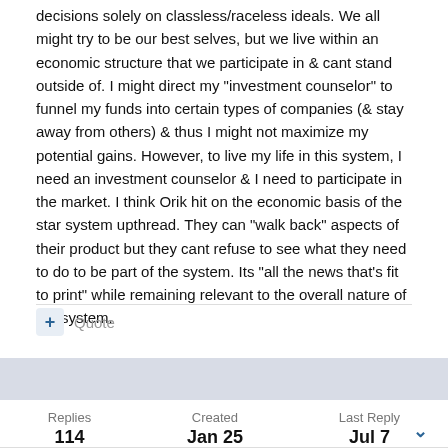decisions solely on classless/raceless ideals.  We all might try to be our best selves, but we live within an economic structure that we participate in & cant stand outside of.  I might direct my "investment counselor" to funnel my funds into certain types of companies (& stay away from others) & thus I might not maximize my potential gains.  However, to live my life in this system, I need an investment counselor & I need to participate in the market.  I think Orik hit on the economic basis of the star system upthread.  They can "walk back" aspects of their product but they cant refuse to see what they need to do to be part of the system.  Its "all the news that's fit to print" while remaining relevant to the overall nature of the system.
+ Quote
Replies
114
Created
Jan 25
Last Reply
Jul 7